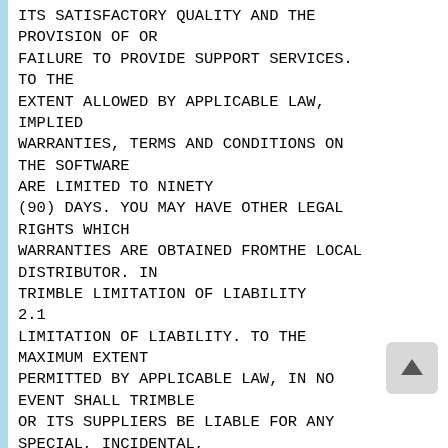ITS SATISFACTORY QUALITY AND THE PROVISION OF OR FAILURE TO PROVIDE SUPPORT SERVICES. TO THE EXTENT ALLOWED BY APPLICABLE LAW, IMPLIED WARRANTIES, TERMS AND CONDITIONS ON THE SOFTWARE ARE LIMITED TO NINETY (90) DAYS. YOU MAY HAVE OTHER LEGAL RIGHTS WHICH WARRANTIES ARE OBTAINED FROMTHE LOCAL DISTRIBUTOR. IN TRIMBLE LIMITATION OF LIABILITY 2.1 LIMITATION OF LIABILITY. TO THE MAXIMUM EXTENT PERMITTED BY APPLICABLE LAW, IN NO EVENT SHALL TRIMBLE OR ITS SUPPLIERS BE LIABLE FOR ANY SPECIAL, INCIDENTAL, INDIRECT, CONSEQUENTIAL OR PUNITIVE